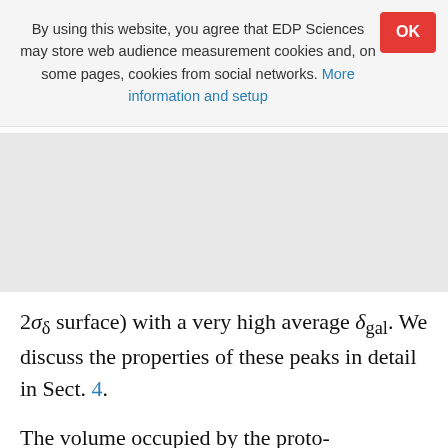By using this website, you agree that EDP Sciences may store web audience measurement cookies and, on some pages, cookies from social networks. More information and setup
2σδ surface) with a very high average δgal. We discuss the properties of these peaks in detail in Sect. 4.
The volume occupied by the proto-supercluster shown in Fig. 2 is about 9.5 × 10⁴ cMpc³ (obtained by adding up